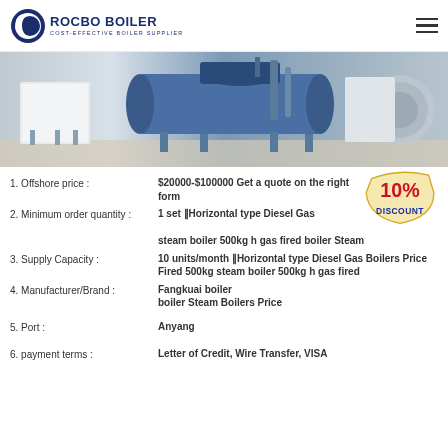[Figure (logo): Rocbo Boiler logo with blue crescent circle and text 'ROCBO BOILER COST-EFFECTIVE BOILER SUPPLIER']
[Figure (photo): Industrial boiler equipment in a factory/facility setting]
1. Offshore price : $20000-$100000 Get a quote on the right form
2. Minimum order quantity : 1 set ‖Horizontal type Diesel Gas steam boiler 500kg h gas fired boiler Steam
3. Supply Capacity : 10 units/month ‖Horizontal type Diesel Gas Boilers Price Fired 500kg steam boiler 500kg h gas fired
4. Manufacturer/Brand : Fangkuai boiler boiler Steam Boilers Price
5. Port : Anyang
6. payment terms : Letter of Credit, Wire Transfer, VISA